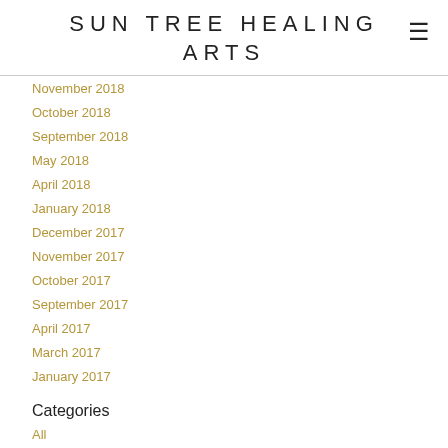SUN TREE HEALING ARTS
November 2018
October 2018
September 2018
May 2018
April 2018
January 2018
December 2017
November 2017
October 2017
September 2017
April 2017
March 2017
January 2017
Categories
All